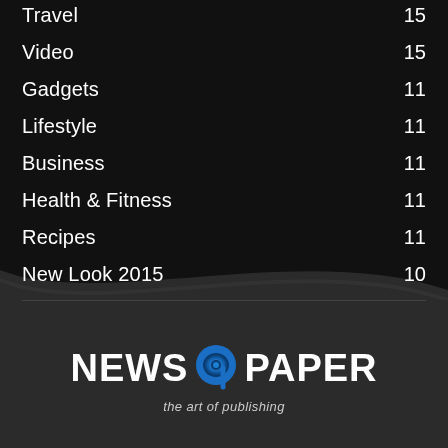Travel 15
Video 15
Gadgets 11
Lifestyle 11
Business 11
Health & Fitness 11
Recipes 11
New Look 2015 10
Street Fashion 10
[Figure (logo): NEWS9PAPER logo with blue 9 emblem and tagline 'the art of publishing']